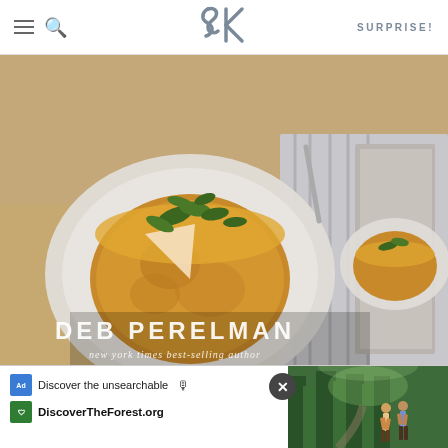SK (Smitten Kitchen) — SURPRISE!
[Figure (photo): Book cover photo showing a golden potato frittata on a white plate with green arugula on top, with the text 'DEB PERELMAN — new york times best-selling author' overlaid on the lower portion. Two book copies shown side by side.]
AS AN AMAZON ASSOCIATE I EARN FROM QUALIFYING PURCHASES.
©2009–2022 SMITTEN KITCHEN. PROUDLY POWERED BY WORDPRESS. HOSTED BY PRESSABLE.
[Figure (screenshot): Advertisement banner: 'Discover the unsearchable' with mic icon, DiscoverTheForest.org URL, with forest/hiking photo on the right and close button.]